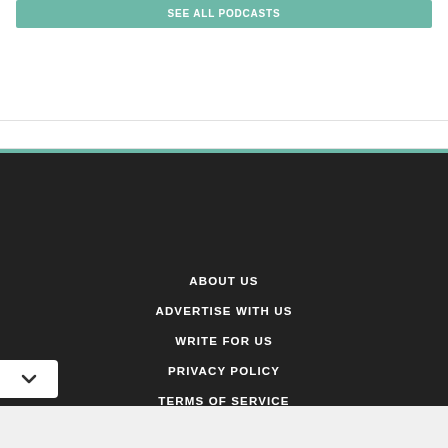SEE ALL PODCASTS
ABOUT US
ADVERTISE WITH US
WRITE FOR US
PRIVACY POLICY
TERMS OF SERVICE